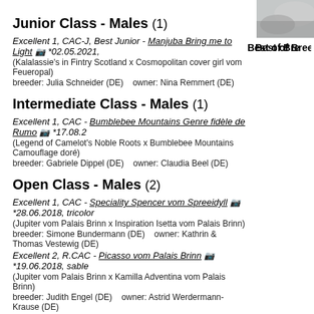[Figure (photo): Partial photo of a dog in the top-right corner]
Best of Breed
Junior Class - Males (1)
Excellent 1, CAC-J, Best Junior - Manjuba Bring me to Light [camera] *02.05.2021, (Kalalassie's in Fintry Scotland x Cosmopolitan cover girl vom Feueropal) breeder: Julia Schneider (DE)   owner: Nina Remmert (DE)
Intermediate Class - Males (1)
Excellent 1, CAC - Bumblebee Mountains Genre fidèle de Rumo [camera] *17.08.2... (Legend of Camelot's Noble Roots x Bumblebee Mountains Camouflage doré) breeder: Gabriele Dippel (DE)   owner: Claudia Beel (DE)
Open Class - Males (2)
Excellent 1, CAC - Speciality Spencer vom Spreeidyll [camera] *28.06.2018, tricolor (Jupiter vom Palais Brinn x Inspiration Isetta vom Palais Brinn) breeder: Simone Bundermann (DE)   owner: Kathrin & Thomas Vestewig (DE)
Excellent 2, R.CAC - Picasso vom Palais Brinn [camera] *19.06.2018, sable (Jupiter vom Palais Brinn x Kamilla Adventina vom Palais Brinn) breeder: Judith Engel (DE)   owner: Astrid Werdermann-Krause (DE)
Veteran Class - Males (1)